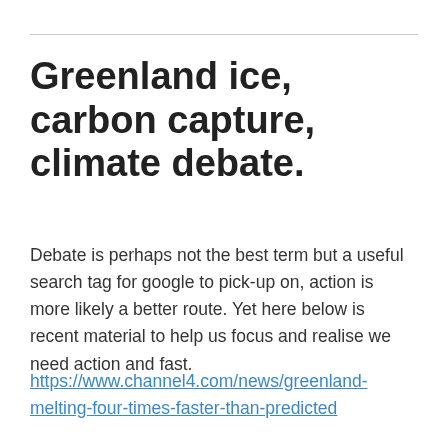Greenland ice, carbon capture, climate debate.
Debate is perhaps not the best term but a useful search tag for google to pick-up on, action is more likely a better route. Yet here below is recent material to help us focus and realise we need action and fast.
https://www.channel4.com/news/greenland-melting-four-times-faster-than-predicted
From the above …
02:02 … Greenland ice loss id 8,500 tons per second…